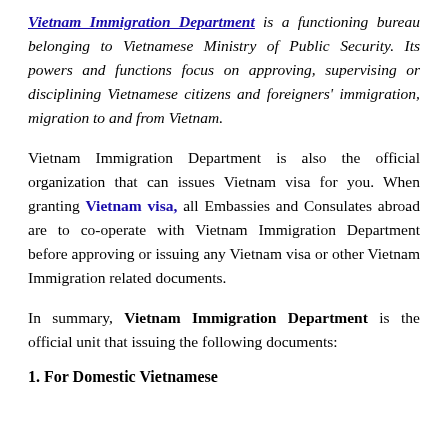Vietnam Immigration Department is a functioning bureau belonging to Vietnamese Ministry of Public Security. Its powers and functions focus on approving, supervising or disciplining Vietnamese citizens and foreigners' immigration, migration to and from Vietnam.
Vietnam Immigration Department is also the official organization that can issues Vietnam visa for you. When granting Vietnam visa, all Embassies and Consulates abroad are to co-operate with Vietnam Immigration Department before approving or issuing any Vietnam visa or other Vietnam Immigration related documents.
In summary, Vietnam Immigration Department is the official unit that issuing the following documents:
1. For Domestic Vietnamese